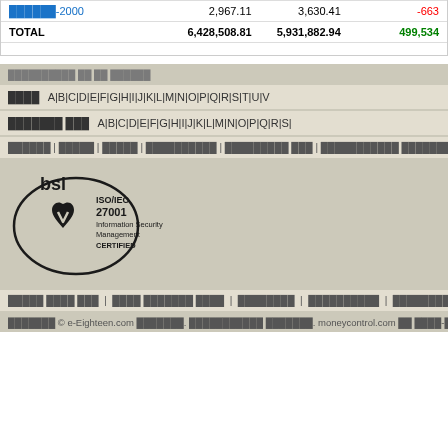|  |  |  |  |
| --- | --- | --- | --- |
| ░░░░░░-2000 | 2,967.11 | 3,630.41 | -663 |
| TOTAL | 6,428,508.81 | 5,931,882.94 | 499,534 |
░░░░░░░░░░ ░░ ░░ ░░░░░░
░░░░  A|B|C|D|E|F|G|H|I|J|K|L|M|N|O|P|Q|R|S|T|U|V
░░░░░░░ ░░░  A|B|C|D|E|F|G|H|I|J|K|L|M|N|O|P|Q|R|S|
░░░░░░ | ░░░░░ | ░░░░░ | ░░░░░░░░░░ | ░░░░░░░░░ ░░░ | ░░░░░░░░░░░ ░░░░░░░░░░░ ░░░░░░ | ░░░ | ░░░░░░
[Figure (logo): BSI ISO/IEC 27001 Information Security Management CERTIFIED logo]
░░░░░ ░░░░ ░░░ | ░░░░ ░░░░░░░ ░░░░ | ░░░░░░░░ | ░░░░░░░░░░ | ░░░░░░░░░ ░░░ | ░░░░░░ ░░ ░░░░░░ |
░░░░░░░ © e-Eighteen.com ░░░░░░░. ░░░░░░░░░░░ ░░░░░░░. moneycontrol.com ░░ ░░░░-░░░░░░ ░░ ░░░